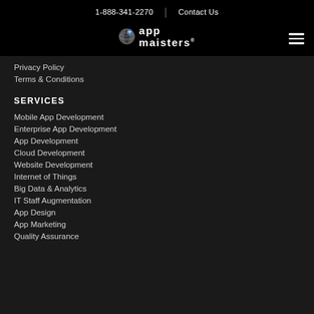1-888-341-2270 | Contact Us
[Figure (logo): App Maisters logo with globe icon and registered trademark symbol]
Privacy Policy
Terms & Conditions
SERVICES
Mobile App Development
Enterprise App Development
App Development
Cloud Development
Website Development
Internet of Things
Big Data & Analytics
IT Staff Augmentation
App Design
App Marketing
Quality Assurance